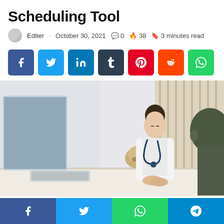Scheduling Tool
Editer · October 30, 2021 💬 0 🔥 38 🔖 3 minutes read
[Figure (other): Social share buttons: Facebook, Twitter, LinkedIn, Tumblr, Pinterest, Reddit, WhatsApp]
[Figure (photo): A female doctor in a white coat with a stethoscope sits across from a patient at a desk with a computer monitor; a skull model and keyboard visible]
[Figure (other): Bottom share bar with Facebook, Twitter, WhatsApp, and Telegram buttons]